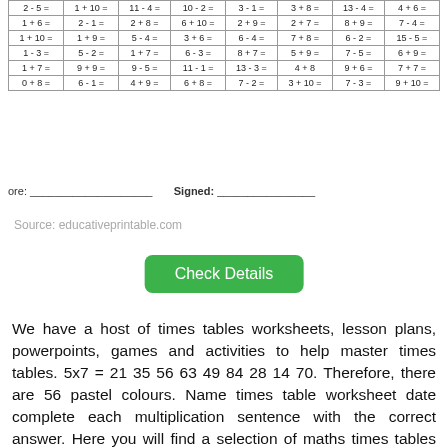| 2-5= | 1+10= | 11-4= | 10-2= | 3-1= | 3+8= | 13-4= | 4+6= |
| --- | --- | --- | --- | --- | --- | --- | --- |
| 1+6= | 2-1= | 2+8= | 6+10= | 2+9= | 2+7= | 8+9= | 7-4= |
| 1+10= | 1+9= | 5-4= | 3+6= | 6-4= | 7+8= | 6-2= | 15-5= |
| 1-3= | 5-2= | 1+7= | 6-3= | 8+7= | 5+9= | 7-5= | 6+9= |
| 1+7= | 9+9= | 9-5= | 11-1= | 13-3= | 4+8 | 9+6= | 7+7= |
| 0+8= | 6-1= | 4+9= | 6+8= | 7-2= | 3+10= | 7-3= | 9+10= |
ore: __________________ Signed: ________________
Source: educativeprintable.com
Check Details
We have a host of times tables worksheets, lesson plans, powerpoints, games and activities to help master times tables. 5x7 = 21 35 56 63 49 84 28 14 70. Therefore, there are 56 pastel colours. Name times table worksheet date complete each multiplication sentence with the correct answer. Here you will find a selection of maths times tables worksheets.